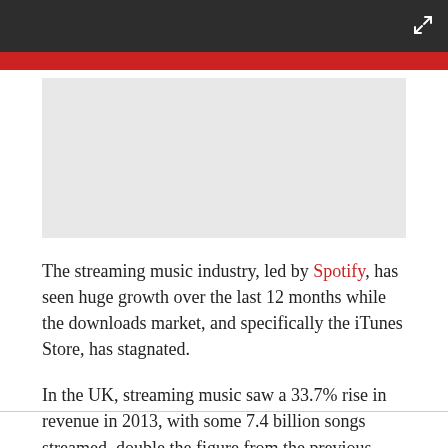[Figure (other): Light grey image placeholder rectangle below red bar]
The streaming music industry, led by Spotify, has seen huge growth over the last 12 months while the downloads market, and specifically the iTunes Store, has stagnated.
In the UK, streaming music saw a 33.7% rise in revenue in 2013, with some 7.4 billion songs streamed, double the figure from the previous year. Digital sales were up over 3% last year, but that was considerably lower than the 15% increase in 2012.